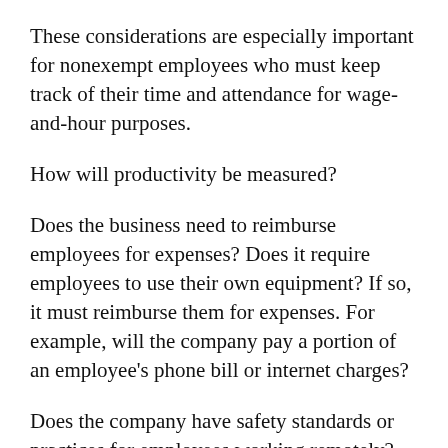These considerations are especially important for nonexempt employees who must keep track of their time and attendance for wage-and-hour purposes.
How will productivity be measured?
Does the business need to reimburse employees for expenses? Does it require employees to use their own equipment? If so, it must reimburse them for expenses. For example, will the company pay a portion of an employee's phone bill or internet charges?
Does the company have safety standards or practices for employees working remotely? Workers' compensation might be available for injuries an employee